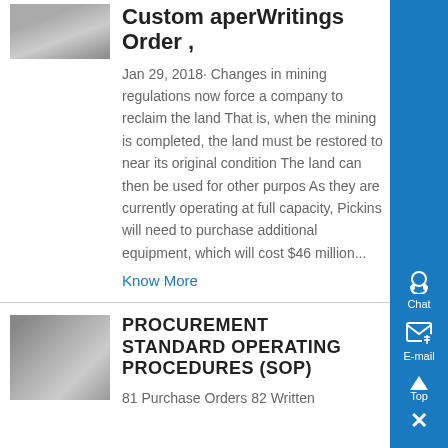Custom aperWritings Order ,
Jan 29, 2018· Changes in mining regulations now force a company to reclaim the land That is, when the mining is completed, the land must be restored to near its original condition The land can then be used for other purpos As they are currently operating at full capacity, Pickins will need to purchase additional equipment, which will cost $46 million...
Know More
PROCUREMENT STANDARD OPERATING PROCEDURES (SOP)
81 Purchase Orders 82 Written